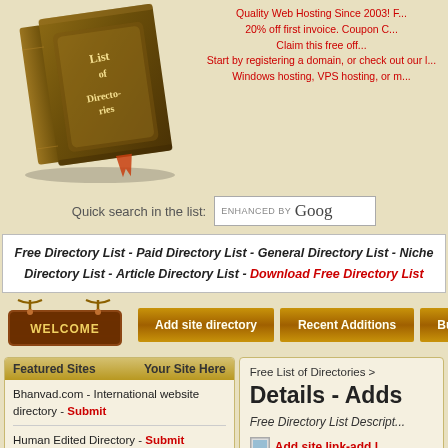[Figure (illustration): An old brown leather book titled 'List of Directories' with a bookmark ribbon, positioned in the upper left area of the page.]
Quality Web Hosting Since 2003! F... 20% off first invoice. Coupon C... Claim this free off... Start by registering a domain, or check out our l... Windows hosting, VPS hosting, or m...
Quick search in the list:
[Figure (screenshot): Enhanced by Google search box]
Free Directory List - Paid Directory List - General Directory List - Niche Directory List - Article Directory List - Download Free Directory List
[Figure (illustration): Welcome hanging sign with rustic wood look]
[Figure (illustration): Add site directory button (gold/brown gradient)]
[Figure (illustration): Recent Additions button (gold/brown gradient)]
[Figure (illustration): Buttons button (gold/brown gradient)]
Featured Sites   Your Site Here
Bhanvad.com - International website directory - Submit
Human Edited Directory - Submit
Submit Link to Links Directory - Submit
Free List of Directories >
Details - Adds
Free Directory List Descript...
Add site link-add l...
Add site link-directo...